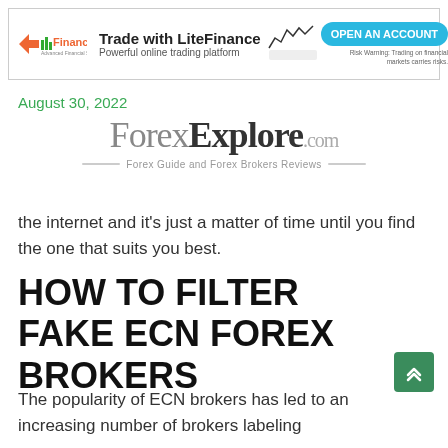[Figure (infographic): LiteFinance advertisement banner: logo on left, 'Trade with LiteFinance / Powerful online trading platform' text in center, stock chart graphic, teal 'OPEN AN ACCOUNT' button on right, risk warning text below button]
August 30, 2022
[Figure (logo): ForexExplore.com logo with tagline 'Forex Guide and Forex Brokers Reviews']
the internet and it's just a matter of time until you find the one that suits you best.
HOW TO FILTER FAKE ECN FOREX BROKERS
The popularity of ECN brokers has led to an increasing number of brokers labeling